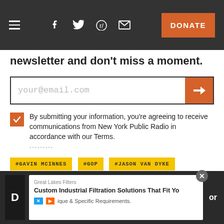Navigation bar with menu, social icons (Facebook, Twitter, Reddit, Email), and DONATE button
newsletter and don't miss a moment.
[Figure (other): Email newsletter signup form with input field showing placeholder 'your@email.com' and orange submit button with arrow icon]
By submitting your information, you're agreeing to receive communications from New York Public Radio in accordance with our Terms.
#GAVIN MCINNES
#GOP
#JASON VAN DYKE
#METROPOLITAN REPUBLICAN CLUB
#NYPD
#PROUD BOYS
[Figure (other): Advertisement banner at bottom: Great Lakes Filters - Custom Industrial Filtration Solutions That Fit Your Unique & Specific Requirements.]